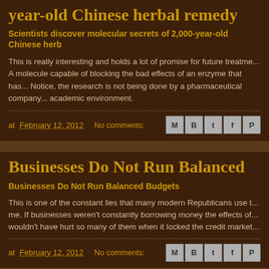year-old Chinese herbal remedy
Scientists discover molecular secrets of 2,000-year-old Chinese herb
This is really interesting and holds a lot of promise for future treatments. A molecule capable of blocking the bad effects of an enzyme that has... Notice, the research is not being done by a pharmaceutical company... academic environment.
at February 12, 2012  No comments:
Businesses Do Not Run Balanced
Businesses Do Not Run Balanced Budgets
This is one of the constant lies that many modern Republicans use to... me. If businesses weren't constantly borrowing money the effects of... wouldn't have hurt so many of them when it locked the credit market...
at February 12, 2012  No comments: